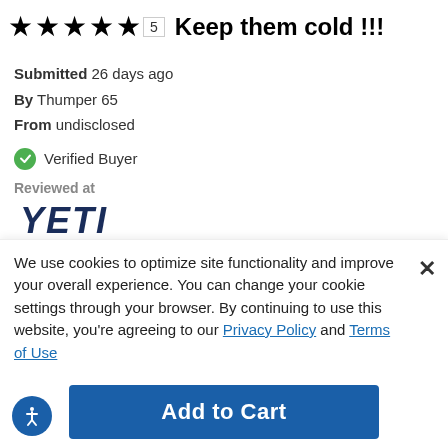★★★★★ 5 Keep them cold !!!
Submitted 26 days ago
By Thumper 65
From undisclosed
Verified Buyer
Reviewed at
[Figure (logo): YETI brand logo in dark navy blue bold italic text]
I have had mine for over 3years I love it dont leave house without and in house ...
Was this review helpful to you?
We use cookies to optimize site functionality and improve your overall experience. You can change your cookie settings through your browser. By continuing to use this website, you're agreeing to our Privacy Policy and Terms of Use
Add to Cart